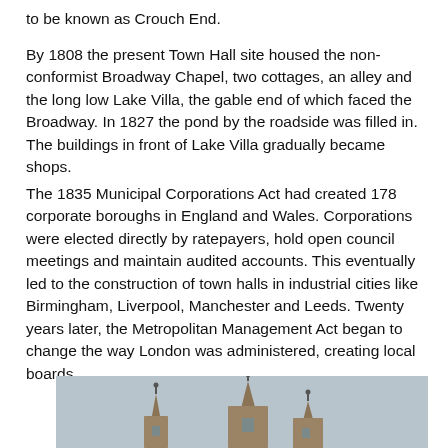to be known as Crouch End.
By 1808 the present Town Hall site housed the non-conformist Broadway Chapel, two cottages, an alley and the long low Lake Villa, the gable end of which faced the Broadway. In 1827 the pond by the roadside was filled in. The buildings in front of Lake Villa gradually became shops.
The 1835 Municipal Corporations Act had created 178 corporate boroughs in England and Wales. Corporations were elected directly by ratepayers, hold open council meetings and maintain audited accounts. This eventually led to the construction of town halls in industrial cities like Birmingham, Liverpool, Manchester and Leeds. Twenty years later, the Metropolitan Management Act began to change the way London was administered, creating local boards.
[Figure (photo): Photograph of decorative Gothic-style pointed spires/turrets of a building against a pale blue-grey sky.]